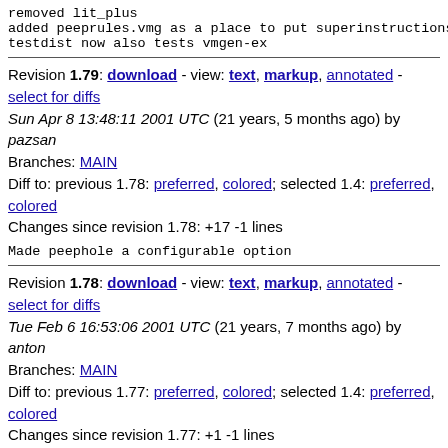removed lit_plus
added peeprules.vmg as a place to put superinstructions
testdist now also tests vmgen-ex
Revision 1.79: download - view: text, markup, annotated - select for diffs
Sun Apr 8 13:48:11 2001 UTC (21 years, 5 months ago) by pazsan
Branches: MAIN
Diff to: previous 1.78: preferred, colored; selected 1.4: preferred, colored
Changes since revision 1.78: +17 -1 lines
Made peephole a configurable option
Revision 1.78: download - view: text, markup, annotated - select for diffs
Tue Feb 6 16:53:06 2001 UTC (21 years, 7 months ago) by anton
Branches: MAIN
Diff to: previous 1.77: preferred, colored; selected 1.4: preferred, colored
Changes since revision 1.77: +1 -1 lines
type conversion macros instead of casts for fetch/store-s
Revision 1.77: download - view: text, markup, annotated - select for diffs